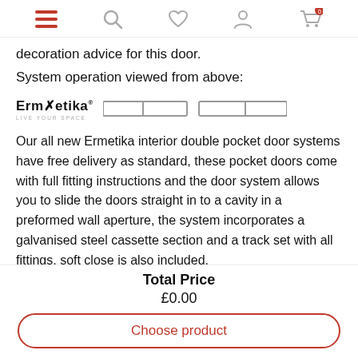Navigation bar with menu, search, wishlist, account, and cart icons
decoration advice for this door.
System operation viewed from above:
[Figure (illustration): Ermetika logo (with tagline LIVE YOUR SPACE) and a top-view diagram of a double pocket door system showing two sliding door panels represented as horizontal rectangles]
Our all new Ermetika interior double pocket door systems have free delivery as standard, these pocket doors come with full fitting instructions and the door system allows you to slide the doors straight in to a cavity in a preformed wall aperture, the system incorporates a galvanised steel cassette section and a track set with all fittings, soft close is also included.
Total Price
£0.00
Choose product